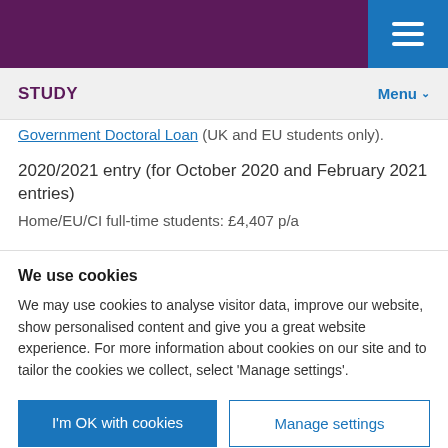STUDY | Menu
Government Doctoral Loan (UK and EU students only).
2020/2021 entry (for October 2020 and February 2021 entries)
Home/EU/CI full-time students: £4,407 p/a
We use cookies
We may use cookies to analyse visitor data, improve our website, show personalised content and give you a great website experience. For more information about cookies on our site and to tailor the cookies we collect, select 'Manage settings'.
I'm OK with cookies
Manage settings